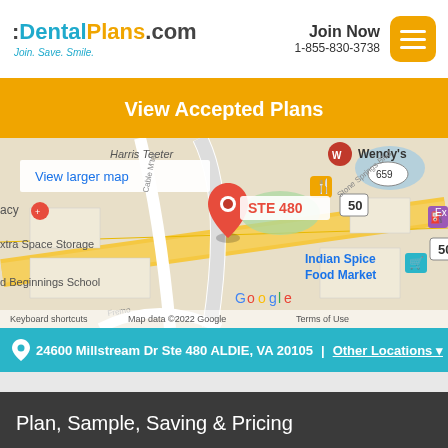:DentalPlans.com Join. Save. Smile. | Join Now 1-855-830-3738
View Accepted Plans
[Figure (map): Google Maps screenshot showing location at STE 480 on Stone Springs Blvd near Route 50 in Aldie VA, with nearby landmarks including Wendy's, Harris Teeter, Extra Space Storage, Indian Spice Food Market, and d Beginnings School. Map data ©2022 Google.]
24600 Millstream Dr Ste 480 ALDIE, VA 20105 | Other Locations ▼
Plan, Sample, Saving & Pricing